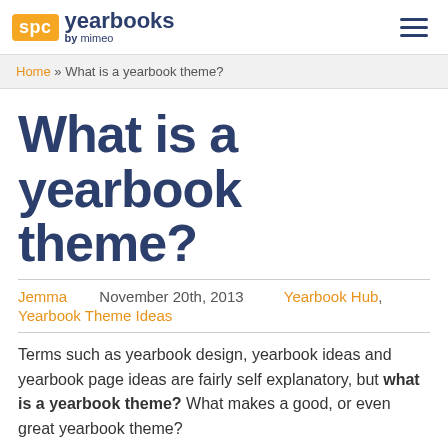spc yearbooks by mimeo
Home » What is a yearbook theme?
What is a yearbook theme?
Jemma   November 20th, 2013   Yearbook Hub, Yearbook Theme Ideas
Terms such as yearbook design, yearbook ideas and yearbook page ideas are fairly self explanatory, but what is a yearbook theme? What makes a good, or even great yearbook theme?
In essence, a yearbook theme contains a recurring element which runs from cover-to-cover. A yearbook theme